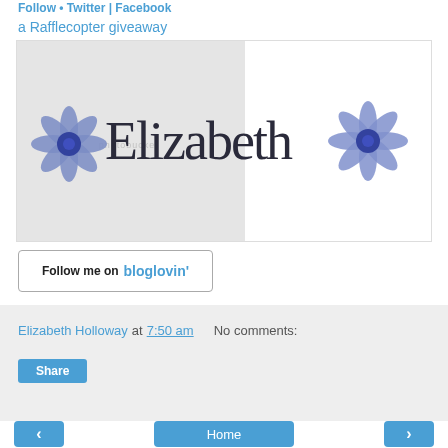Follow • Twitter | Facebook
a Rafflecopter giveaway
[Figure (illustration): A signature image showing the name 'Elizabeth' written in cursive handwriting with blue flower decorations on either side, set against a light grey background with a Photobucket watermark.]
[Figure (logo): Follow me on bloglovin' button with black label text and blue brand name]
Elizabeth Holloway at 7:50 am   No comments:
Share
Home
View web version
Powered by Blogger.